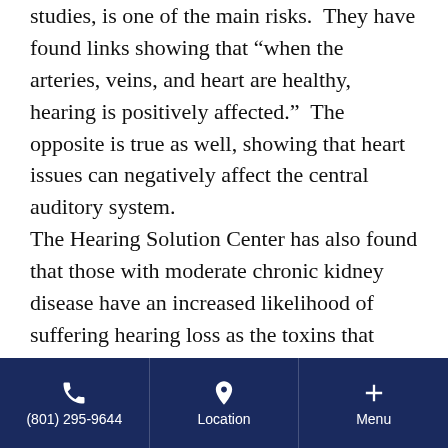studies, is one of the main risks. They have found links showing that “when the arteries, veins, and heart are healthy, hearing is positively affected.” The opposite is true as well, showing that heart issues can negatively affect the central auditory system.
The Hearing Solution Center has also found that those with moderate chronic kidney disease have an increased likelihood of suffering hearing loss as the toxins that accumulate in kidney failure damage the nerves in the inner ear. Patients with diabetes have also been linked to high risk of hearing loss, most likely due to the fact that glucose
(801) 295-9644 | Location | Menu